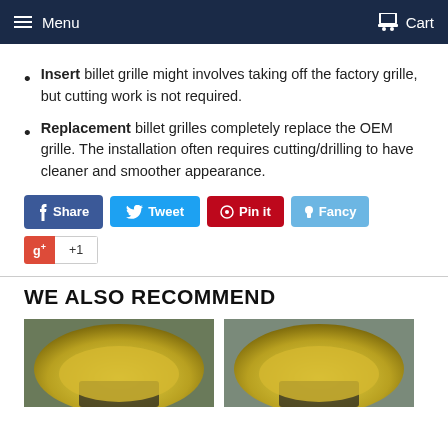Menu  Cart
Insert billet grille might involves taking off the factory grille, but cutting work is not required.
Replacement billet grilles completely replace the OEM grille. The installation often requires cutting/drilling to have cleaner and smoother appearance.
[Figure (screenshot): Social sharing buttons: Share (Facebook, blue), Tweet (Twitter, light blue), Pin it (Pinterest, red), Fancy (light blue), and a Google+ +1 button]
WE ALSO RECOMMEND
[Figure (photo): Two product photos showing yellow cars from front view, partially cropped at bottom of page]